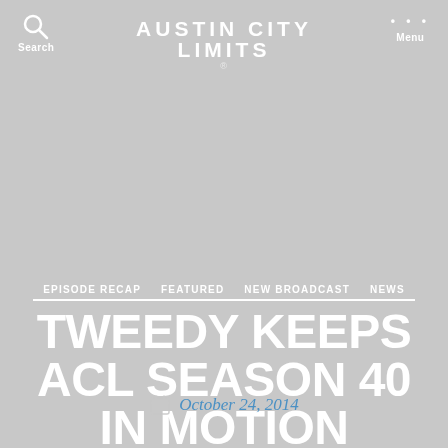AUSTIN CITY LIMITS
Search
Menu
EPISODE RECAP  FEATURED  NEW BROADCAST  NEWS
TWEEDY KEEPS ACL SEASON 40 IN MOTION
October 24, 2014